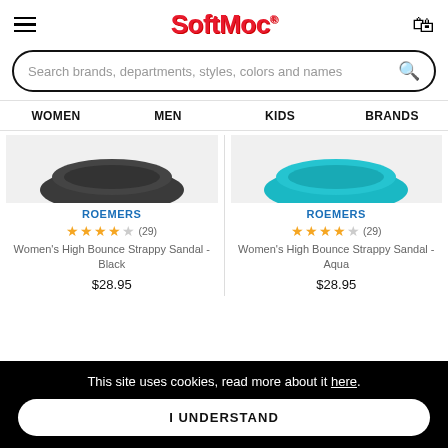SoftMoc
Search brands, departments, styles, colors and names
WOMEN  MEN  KIDS  BRANDS
[Figure (photo): Product image of Women's High Bounce Strappy Sandal in Black color on light grey background]
ROEMERS
★★★★☆ (29)
Women's High Bounce Strappy Sandal - Black
$28.95
[Figure (photo): Product image of Women's High Bounce Strappy Sandal in Aqua color on light grey background]
ROEMERS
★★★★☆ (29)
Women's High Bounce Strappy Sandal - Aqua
$28.95
This site uses cookies, read more about it here.
I UNDERSTAND